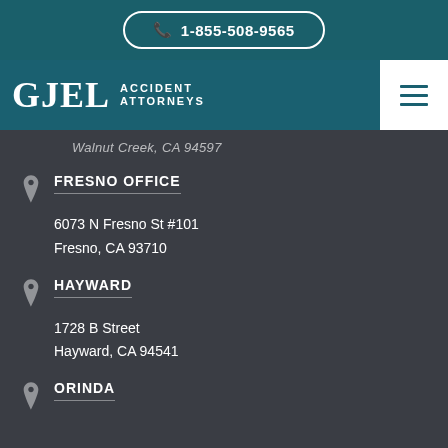📞 1-855-508-9565
[Figure (logo): GJEL Accident Attorneys logo on teal navigation bar with hamburger menu icon]
Walnut Creek, CA 94597
FRESNO OFFICE
6073 N Fresno St #101
Fresno, CA 93710
HAYWARD
1728 B Street
Hayward, CA 94541
ORINDA